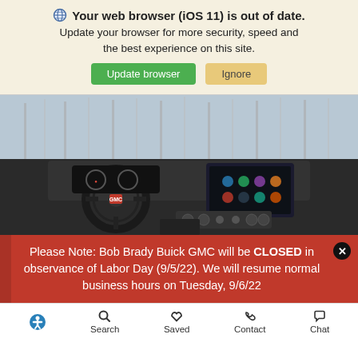🌐 Your web browser (iOS 11) is out of date. Update your browser for more security, speed and the best experience on this site. [Update browser] [Ignore]
[Figure (photo): Interior of a GMC vehicle showing steering wheel, dashboard, and infotainment screen with winter trees visible through the windshield]
Please Note: Bob Brady Buick GMC will be CLOSED in observance of Labor Day (9/5/22). We will resume normal business hours on Tuesday, 9/6/22
Accessibility Search Saved Contact Chat